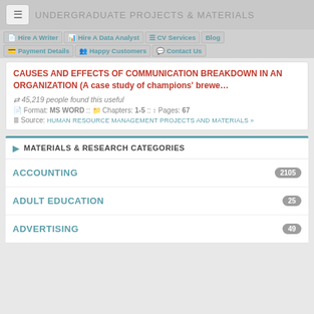UNDERGRADUATE PROJECTS & MATERIALS
Hire A Writer | Hire A Data Analyst | CV Services | Blog | Payment Details | Happy Customers | Contact Us
CAUSES AND EFFECTS OF COMMUNICATION BREAKDOWN IN AN ORGANIZATION (A case study of champions' brewe...
45,219 people found this useful
Format: MS WORD :: Chapters: 1-5 :: Pages: 67
Source: HUMAN RESOURCE MANAGEMENT PROJECTS AND MATERIALS »
MATERIALS & RESEARCH CATEGORIES
ACCOUNTING 2105
ADULT EDUCATION 25
ADVERTISING 49